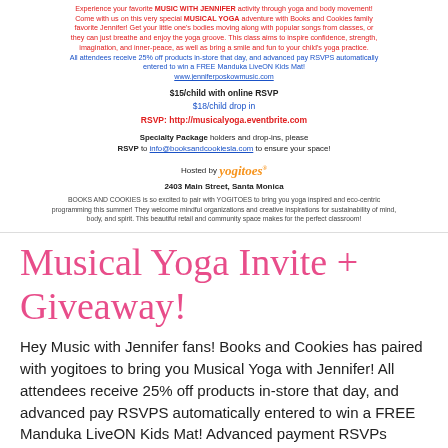Experience your favorite MUSIC WITH JENNIFER activity through yoga and body movement! Come with us on this very special MUSICAL YOGA adventure with Books and Cookies family favorite Jennifer! Get your little one's bodies moving along with popular songs from classes, or they can just breathe and enjoy the yoga groove. This class aims to inspire confidence, strength, imagination, and inner-peace, as well as bring a smile and fun to your child's yoga practice. All attendees receive 25% off products in-store that day, and advanced pay RSVPS automatically entered to win a FREE Manduka LiveON Kids Mat! www.jenniferposkowmusic.com
$15/child with online RSVP
$18/child drop in
RSVP: http://musicalyoga.eventbrite.com
Specialty Package holders and drop-ins, please RSVP to info@booksandcookiesla.com to ensure your space!
Hosted by yogitoes
2403 Main Street, Santa Monica
BOOKS AND COOKIES is so excited to pair with YOGITOES to bring you yoga inspired and eco-centric programming this summer! They welcome mindful organizations and creative inspirations for sustainability of mind, body, and spirit. This beautiful retail and community space makes for the perfect classroom!
Musical Yoga Invite + Giveaway!
Hey Music with Jennifer fans! Books and Cookies has paired with yogitoes to bring you Musical Yoga with Jennifer! All attendees receive 25% off products in-store that day, and advanced pay RSVPS automatically entered to win a FREE Manduka LiveON Kids Mat! Advanced payment RSVPs automatically entered to win a FREE LiveON Kids Mat joy for